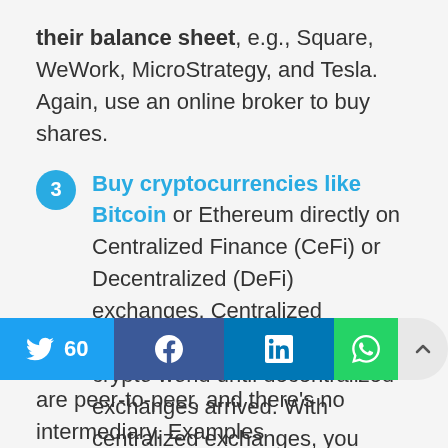their balance sheet, e.g., Square, WeWork, MicroStrategy, and Tesla. Again, use an online broker to buy shares.
3 Buy cryptocurrencies like Bitcoin or Ethereum directly on Centralized Finance (CeFi) or Decentralized (DeFi) exchanges. Centralized exchanges were the norm in the crypto world until decentralized exchanges arrived. With centralized exchanges, you
[Figure (infographic): Social share bar with Twitter (60), Facebook, LinkedIn, WhatsApp buttons and scroll-up arrow]
exchange is the custodian for storing your funds. Decentralized exchanges are peer-to-peer, and there's no intermediary. Examples